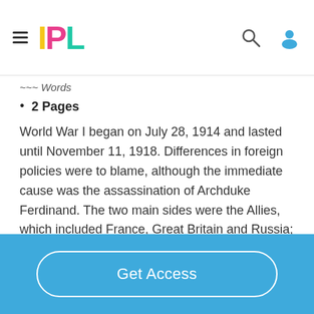IPL
2 Pages
World War I began on July 28, 1914 and lasted until November 11, 1918. Differences in foreign policies were to blame, although the immediate cause was the assassination of Archduke Ferdinand. The two main sides were the Allies, which included France, Great Britain and Russia; and Germany and Austria- Hungary. Thirty countries were involved total. World War I was the first global conflict, also known as “The Great War”....
Read More
Get Access